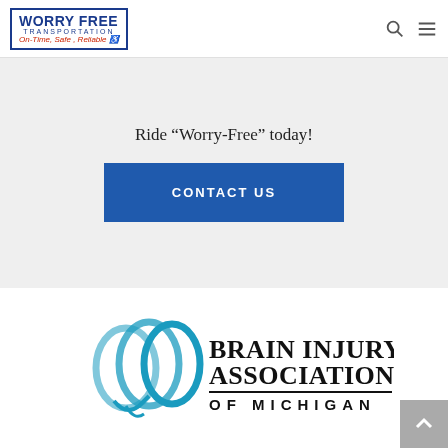[Figure (logo): Worry Free Transportation logo with blue border, red and blue text, tagline On-Time, Safe, Reliable with wheelchair icon]
[Figure (logo): Navigation icons: search magnifier and hamburger menu]
Ride “Worry-Free” today!
CONTACT US
[Figure (logo): Brain Injury Association of Michigan logo with teal interlocking loop symbol and bold serif text]
[Figure (other): Scroll to top button (grey square with upward arrow chevron)]